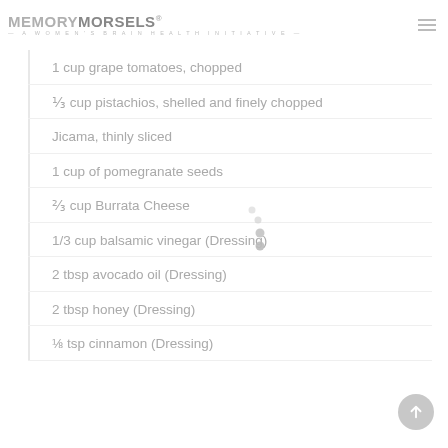MEMORY MORSELS® — A WOMEN'S BRAIN HEALTH INITIATIVE —
1 cup grape tomatoes, chopped
⅓ cup pistachios, shelled and finely chopped
Jicama, thinly sliced
1 cup of pomegranate seeds
⅔ cup Burrata Cheese
1/3 cup balsamic vinegar (Dressing)
2 tbsp avocado oil (Dressing)
2 tbsp honey (Dressing)
⅛ tsp cinnamon (Dressing)